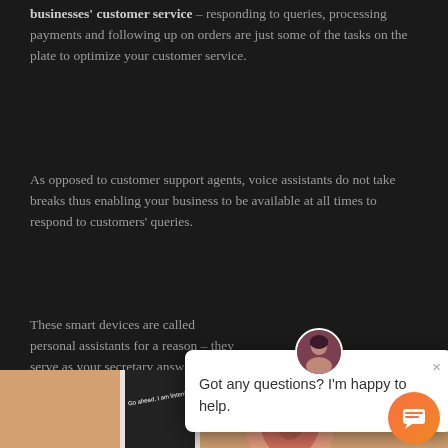businesses' customer service – responding to queries, processing payments and following up on orders are just some of the tasks on the plate to optimize your customer service.
As opposed to customer support agents, voice assistants do not take breaks thus enabling your business to be available at all times to respond to customers' queries.
These smart devices are called personal assistants for a reason – they serve as your secretary answering calls, booking messages and more.
[Figure (screenshot): Chat popup widget with avatar of a woman, close button (×), and text 'Got any questions? I'm happy to help.' overlaid on a dark background, with an orange chat bubble button in the bottom right]
[Figure (photo): Photo of a hand/ear near a smartphone displaying the text 'Go ahead, I am listening...' on a peach/tan background]